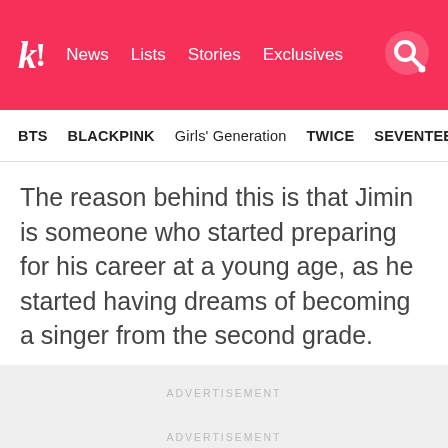k! News Lists Stories Exclusives
BTS  BLACKPINK  Girls' Generation  TWICE  SEVENTEEN
The reason behind this is that Jimin is someone who started preparing for his career at a young age, as he started having dreams of becoming a singer from the second grade.
ADVERTISEMENT
ADVERTISEMENT
[Figure (screenshot): Partially visible video thumbnail with gray background and a teal/cyan peace sign hand gesture emoji in the lower right corner]